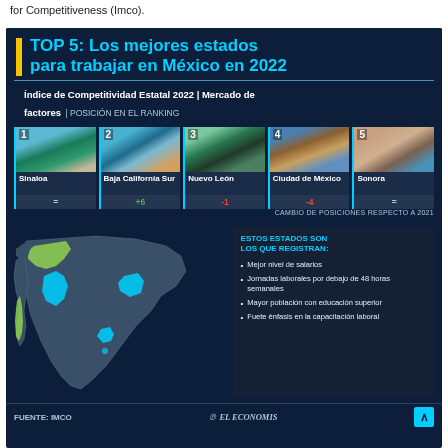for Competitiveness (Imco).
TOP 5: Los mejores estados para trabajar en México en 2022
Índice de Competitividad Estatal 2022 | Mercado de factores | POSICIÓN EN EL RANKING
[Figure (infographic): Top 5 ranking of best states to work in Mexico in 2022, with photos and position change indicators. 1-Sinaloa (=), 2-Baja California Sur (+6), 3-Nuevo León (-1), 4-Ciudad de México (-4), 5-Sonora (=). Includes a map of Mexico highlighting the 5 states and a bullet-point list of characteristics.]
Mejor nivel de salarios
Jornadas laborales por debajo de 48 horas semanales
Mayor población con educación superior
Fuerte énfasis en la capacitación laboral
FUENTE: IMCO    EL ECONOMISTA